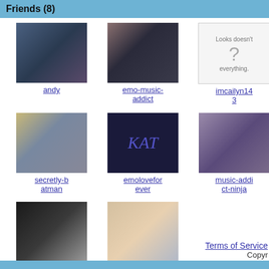Friends (8)
[Figure (photo): Profile photo of andy - person with dark hair]
andy
[Figure (photo): Profile photo of emo-music-addict - person with glasses]
emo-music-addict
[Figure (photo): Placeholder image with question mark for imcailyn143]
imcailyn143
[Figure (photo): Profile photo of secretly-batman - person with blonde hair]
secretly-batman
[Figure (photo): Profile photo of emoloveforever - dark background with KAT letters]
emoloveforever
[Figure (photo): Profile photo of music-addict-ninja - person in purple]
music-addict-ninja
[Figure (photo): Profile photo of name-doesnt-matter - dark contrast image]
name-doesnt-matter
[Figure (photo): Profile photo of xmissmarchxo - smiling person]
xmissmarchxo
Terms of Service   Copyr...